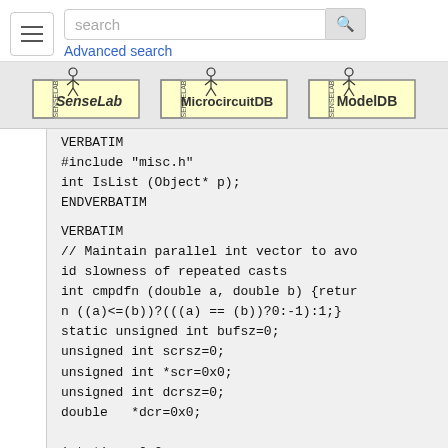[Figure (screenshot): Website top navigation bar with hamburger menu, search input field, search button, and Advanced search link]
[Figure (logo): SenseLab, MicrocircuitDB, and ModelDB logos in a banner row]
VERBATIM
#include "misc.h"
int IsList (Object* p);
ENDVERBATIM
VERBATIM
// Maintain parallel int vector to avoid slowness of repeated casts
int cmpdfn (double a, double b) {return ((a)<=(b))?(((a) == (b))?0:-1):1;}
static unsigned int bufsz=0;
unsigned int scrsz=0;
unsigned int *scr=0x0;
unsigned int dcrsz=0;
double   *dcr=0x0;

int *iscr=0x0;
unsigned int iscrsz=0;